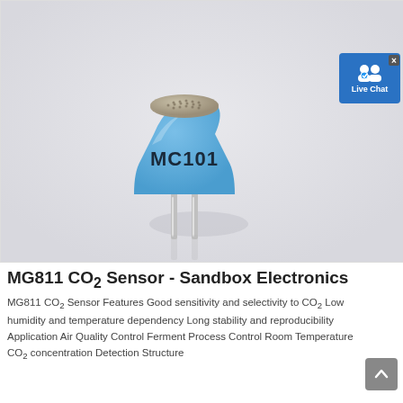[Figure (photo): Photo of a blue MG811 CO2 sensor labeled MC101 on white/light gray background, with a metal mesh top and two metal pins at the bottom. A Live Chat button overlay appears in the upper right corner.]
MG811 CO2 Sensor - Sandbox Electronics
MG811 CO2 Sensor Features Good sensitivity and selectivity to CO2 Low humidity and temperature dependency Long stability and reproducibility Application Air Quality Control Ferment Process Control Room Temperature CO2 concentration Detection Structure